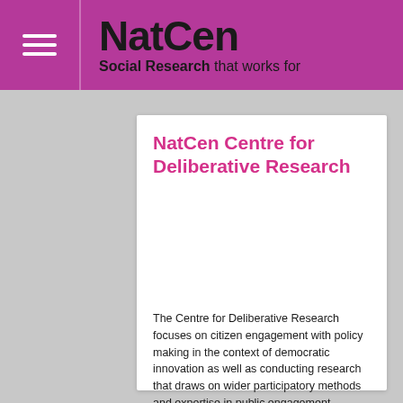NatCen Social Research that works for
NatCen Centre for Deliberative Research
The Centre for Deliberative Research focuses on citizen engagement with policy making in the context of democratic innovation as well as conducting research that draws on wider participatory methods and expertise in public engagement.